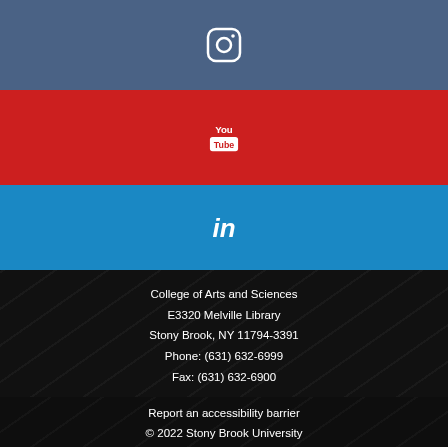[Figure (logo): Instagram icon on steel blue background]
[Figure (logo): YouTube icon on red background]
[Figure (logo): LinkedIn icon on blue background]
College of Arts and Sciences
E3320 Melville Library
Stony Brook, NY 11794-3391
Phone: (631) 632-6999
Fax: (631) 632-6900
Report an accessibility barrier
© 2022  Stony Brook University